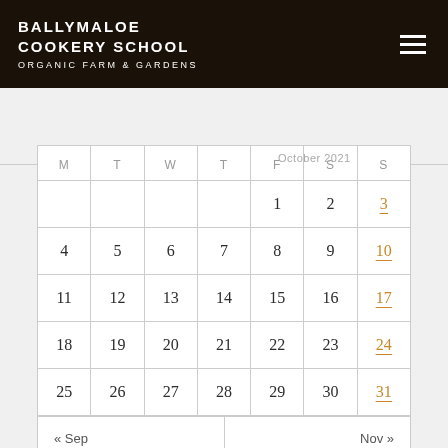BALLYMALOE COOKERY SCHOOL ORGANIC FARM & GARDENS
| M | T | W | T | F | S | S |
| --- | --- | --- | --- | --- | --- | --- |
|  |  |  |  | 1 | 2 | 3 |
| 4 | 5 | 6 | 7 | 8 | 9 | 10 |
| 11 | 12 | 13 | 14 | 15 | 16 | 17 |
| 18 | 19 | 20 | 21 | 22 | 23 | 24 |
| 25 | 26 | 27 | 28 | 29 | 30 | 31 |
| « Sep |  |  |  |  |  | Nov » |